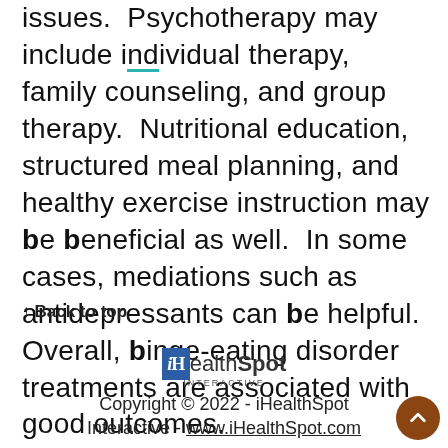issues.  Psychotherapy may include individual therapy, family counseling, and group therapy.  Nutritional education, structured meal planning, and healthy exercise instruction may be beneficial as well.  In some cases, mediations such as antidepressants can be helpful.  Overall, binge-eating disorder treatments are associated with good outcomes.
↑ Back to top
[Figure (logo): iHealthSpot Interactive logo — blue square with 'iH' text followed by 'ealthSpot' and 'INTERACTIVE' subtitle]
Copyright © 2022 - iHealthSpot Interactive - www.iHealthSpot.com